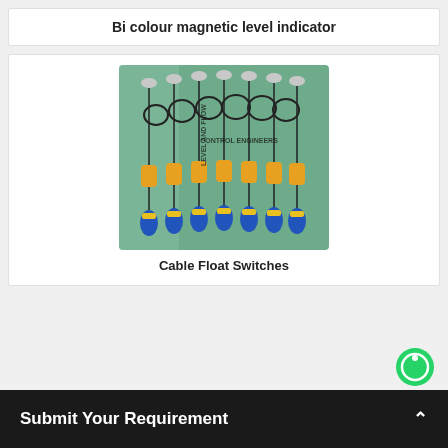Bi colour magnetic level indicator
[Figure (photo): Photo of multiple cable float switches mounted on a green board, with circular rings and yellow-blue weighted floats hanging from cables. Watermark text reads 'LEVEL AND FLOW CONTROL ENGINEERS' in a circular arrangement.]
Cable Float Switches
Submit Your Requirement